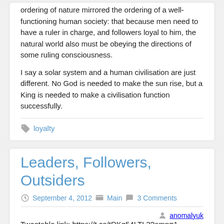ordering of nature mirrored the ordering of a well-functioning human society: that because men need to have a ruler in charge, and followers loyal to him, the natural world also must be obeying the directions of some ruling consciousness.
I say a solar system and a human civilisation are just different. No God is needed to make the sun rise, but a King is needed to make a civilisation function successfully.
loyalty
Leaders, Followers, Outsiders
September 4, 2012   Main   3 Comments   anomalyuk
Tweetable link: https://t.co/tRKq54LTL3?amp=1
In the ancestral environment, there were probably three basic strategies a man could follow. He could be a leader, a follower, or an outsider.
The most desirable role is that of leader. The leader tells other